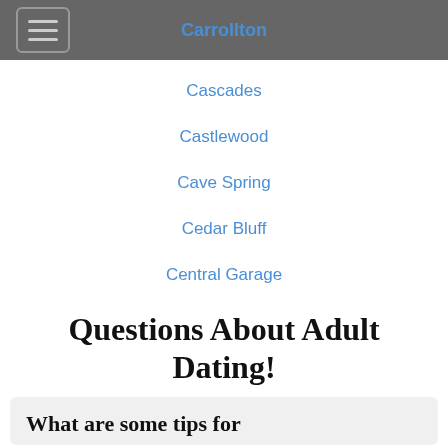Carrollton
Cascades
Castlewood
Cave Spring
Cedar Bluff
Central Garage
Questions About Adult Dating!
What are some tips for